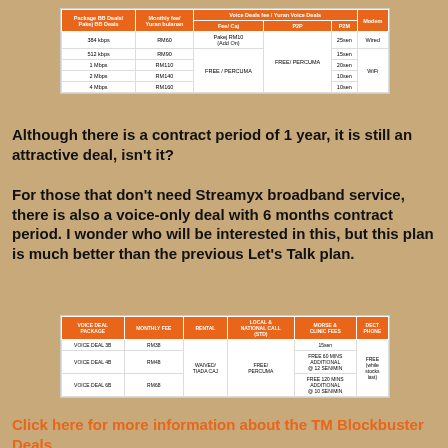| Package BB Deals/ Pakej BB Deals | Monthly fee/ Yuran bulanan | Voice Deals fee / Yuran Voice Deals - Fee/ Caj | Voice Deals fee / Yuran Voice Deals - P2P | Voice Deals fee / Yuran Voice Deals - P2M | Modem |
| --- | --- | --- | --- | --- | --- |
| 384 kbps | RM60 | Pakej RM10 (Add On) | FREE/ PERCUMA | 25sen | Wired |
| 512 kbps | RM90 |  |  | 15sen |  |
| 1 Mbps | RM110 | FREE / PERCUMA |  | 20sen | WiFi |
| 2 Mbps | RM140 |  |  | 10sen |  |
| 4 Mbps | RM160 |  |  | 10sen |  |
Although there is a contract period of 1 year, it is still an attractive deal, isn't it?
For those that don't need Streamyx broadband service, there is also a voice-only deal with 6 months contract period. I wonder who will be interested in this, but this plan is much better than the previous Let's Talk plan.
| VOICE DEAL PACKAGE | MONTHLY FEE | RENTAL | LOCAL & NATIONAL CALL (STD) | MORSE & CLINIC FEES | DECT PHONE |
| --- | --- | --- | --- | --- | --- |
| VOICE DEAL 3B | RM38 |  |  | 15sen |  |
| VOICE DEAL 4B | RM48 | WAIVED/ TIADA CAJ | FREE/ PERCUMA | FREE 60 MINS ADDITIONAL @ 12 SEN/MIN | FREE (while stocks last) |
| VOICE DEAL 6B | RM68 |  |  | FREE 120 MINS ADDITIONAL @ 10 SEN/MIN |  |
Click here for more information about the TM Blockbuster Deals